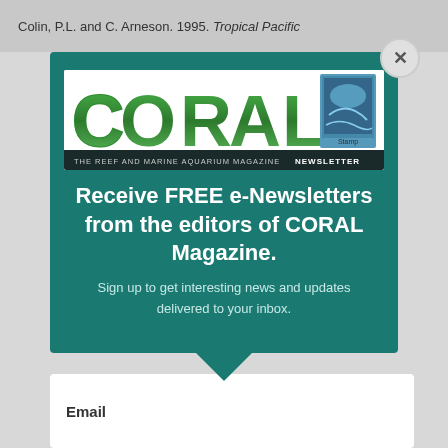Colin, P.L. and C. Arneson. 1995. Tropical Pacific
[Figure (logo): CORAL Magazine logo — large green styled 'CORAL' text with a postage-stamp image on the right, and a dark banner below reading 'THE REEF AND MARINE AQUARIUM MAGAZINE NEWSLETTER']
Receive FREE e-Newsletters from the editors of CORAL Magazine.
Sign up to get interesting news and updates delivered to your inbox.
Email